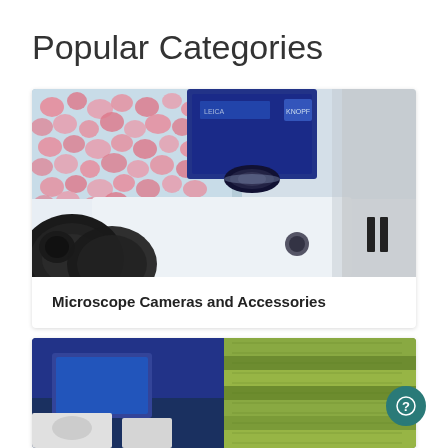Popular Categories
[Figure (photo): Close-up photograph of a digital microscope with a blue CMOS camera attached on top, showing histology slide with pink-stained cells visible on the slide, white microscope body with objective lenses in the foreground]
Microscope Cameras and Accessories
[Figure (photo): Partial view of two images side by side: left shows laboratory equipment with blue panel and screen, right shows green textured material (possibly plant cross-section or foam material)]